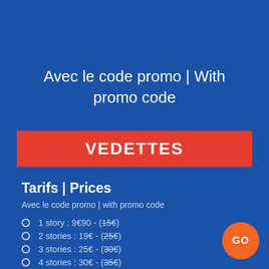Avec le code promo | With promo code
VEDETTES
Tarifs | Prices
Avec le code promo | with promo code
1 story : 9€90 - (15€)
2 stories : 19€ - (25€)
3 stories : 25€ - (30€)
4 stories : 30€ - (35€)